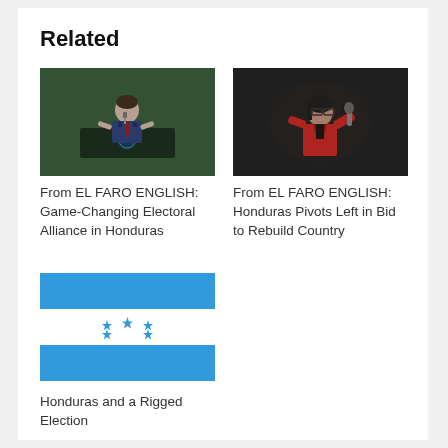Related
[Figure (photo): Man in suit speaking at a podium, UN General Assembly setting with green marble background]
From EL FARO ENGLISH: Game-Changing Electoral Alliance in Honduras
[Figure (photo): Woman in red jacket speaking into a microphone, dark background]
From EL FARO ENGLISH: Honduras Pivots Left in Bid to Rebuild Country
[Figure (illustration): Honduras national flag with three horizontal stripes (blue, white, blue) and five blue stars in the center]
Honduras and a Rigged Election